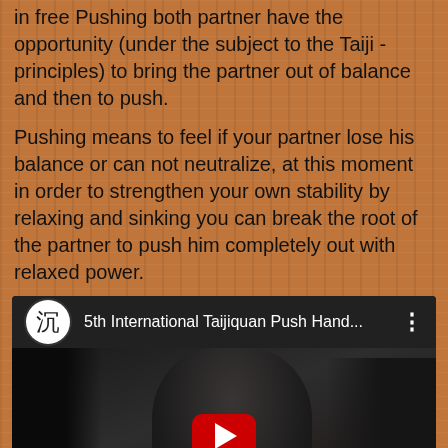in free Pushing both partner have the opportunity (under the subject to the Taiji - principles) to bring the partner out of balance and then to push.
Pushing means to feel if your partner lose his balance or can not neutralize, at this moment in order to strengthen your own stability by relaxing and sinking you can break the root of the partner to push him completely out with relaxed power.
[Figure (screenshot): YouTube video thumbnail showing '5th International Taijiquan Push Hand...' with a dark scene of people practicing push hands, with a red play button in the center.]